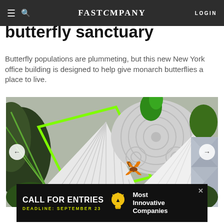FAST COMPANY  LOGIN
building wildly inventive butterfly sanctuary
Butterfly populations are plummeting, but this new New York office building is designed to help give monarch butterflies a place to live.
[Figure (photo): Close-up photograph of an artistic butterfly sanctuary installation featuring white geometric/folded structures, circular patterned panels, green tropical plants and ferns, and a monarch butterfly resting on a white surface.]
[Figure (infographic): Advertisement banner: 'CALL FOR ENTRIES DEADLINE: SEPTEMBER 23' with a lightbulb icon and text 'Most Innovative Companies' on dark background.]